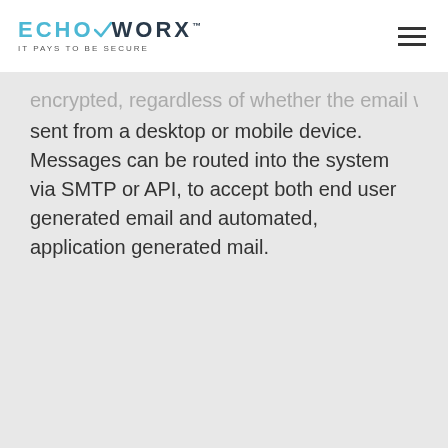ECHOWORX IT PAYS TO BE SECURE
encrypted, regardless of whether the email was sent from a desktop or mobile device. Messages can be routed into the system via SMTP or API, to accept both end user generated email and automated, application generated mail.